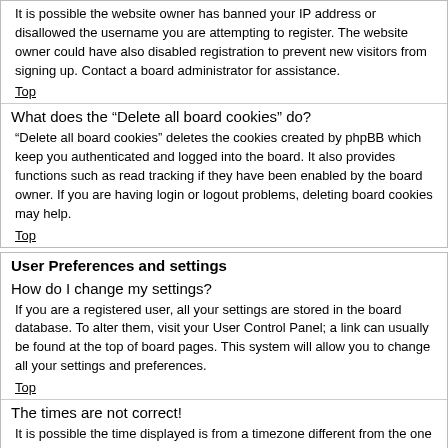It is possible the website owner has banned your IP address or disallowed the username you are attempting to register. The website owner could have also disabled registration to prevent new visitors from signing up. Contact a board administrator for assistance.
Top
What does the “Delete all board cookies” do?
“Delete all board cookies” deletes the cookies created by phpBB which keep you authenticated and logged into the board. It also provides functions such as read tracking if they have been enabled by the board owner. If you are having login or logout problems, deleting board cookies may help.
Top
User Preferences and settings
How do I change my settings?
If you are a registered user, all your settings are stored in the board database. To alter them, visit your User Control Panel; a link can usually be found at the top of board pages. This system will allow you to change all your settings and preferences.
Top
The times are not correct!
It is possible the time displayed is from a timezone different from the one you are in. If this is the case, visit your User Control Panel and change your timezone to match your particular area, e.g. London, Paris, New York, Sydney, etc. Please note that changing the timezone, like most settings, can only be done by registered users. If you are not registered, this is a good time to do so.
Top